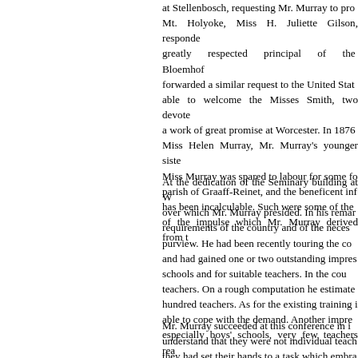at Stellenbosch, requesting Mr. Murray to pro... Mt. Holyoke, Miss H. Juliette Gilson, responde... greatly respected principal of the Bloemhof... forwarded a similar request to the United Stat... able to welcome the Misses Smith, two devote... a work of great promise at Worcester. In 1876 Miss Helen Murray, Mr. Murray's younger siste... Miss Murray was spared to labour for some fo... parish of Graaff-Reinet, and the beneficent inf... has been incalculable. Such were some of the... of the impulse which Mr. Murray derived from t...
At the dedication of the Seminary building at W... over which Mr. Murray presided. In his remar... requirements of the country and of the neces... purview. He had been recently touring the co... and had gained one or two outstanding impres... schools and for suitable teachers. In the cou... teachers. On a rough computation he estimate... hundred teachers. As for the existing training i... able to cope with the demand. Another impre... especially boys' schools, very few teachers rea... first and chiefest aim. Many teachers freely... place to their intellectual work, and had regard... belonging to the domain of the parents, the mi...
Mr. Murray succeeded at this conference in i... understand that they were not individual teach... they had set their hands to a task which embra...